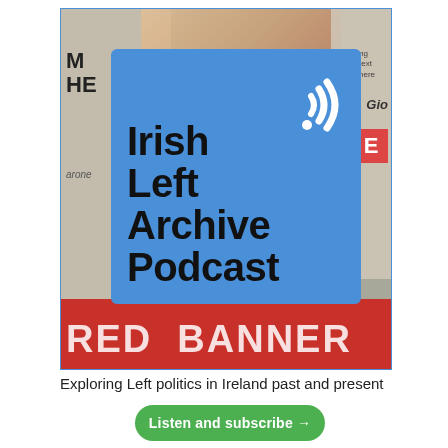[Figure (logo): Irish Left Archive Podcast logo: a blue square with bold black text reading 'Irish Left Archive Podcast' and a white WiFi/podcast signal icon in the top right. The logo overlays a collage background of newspaper clippings and a red banner.]
Exploring Left politics in Ireland past and present
Listen and subscribe →